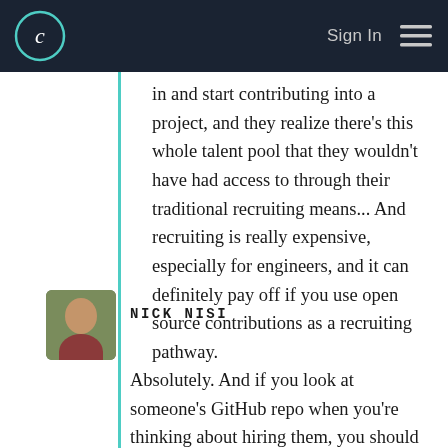Sign In
in and start contributing into a project, and they realize there's this whole talent pool that they wouldn't have had access to through their traditional recruiting means... And recruiting is really expensive, especially for engineers, and it can definitely pay off if you use open source contributions as a recruiting pathway.
NICK NISI
Absolutely. And if you look at someone's GitHub repo when you're thinking about hiring them, you should only do that if you're also actively letting your employees contribute to open source.